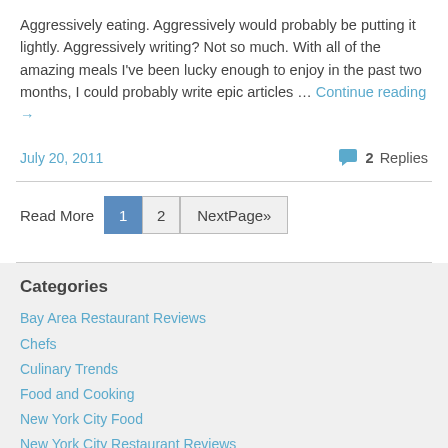Aggressively eating. Aggressively would probably be putting it lightly. Aggressively writing? Not so much. With all of the amazing meals I've been lucky enough to enjoy in the past two months, I could probably write epic articles … Continue reading →
July 20, 2011
2 Replies
Read More  1  2  NextPage»
Categories
Bay Area Restaurant Reviews
Chefs
Culinary Trends
Food and Cooking
New York City Food
New York City Restaurant Reviews
Paris Restaurant Reviews
Recipes
San Francisco Bar Reviews